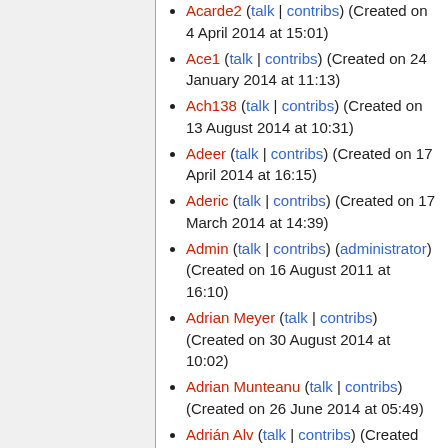Acarde2 (talk | contribs) (Created on 4 April 2014 at 15:01)
Ace1 (talk | contribs) (Created on 24 January 2014 at 11:13)
Ach138 (talk | contribs) (Created on 13 August 2014 at 10:31)
Adeer (talk | contribs) (Created on 17 April 2014 at 16:15)
Aderic (talk | contribs) (Created on 17 March 2014 at 14:39)
Admin (talk | contribs) (administrator) (Created on 16 August 2011 at 16:10)
Adrian Meyer (talk | contribs) (Created on 30 August 2014 at 10:02)
Adrian Munteanu (talk | contribs) (Created on 26 June 2014 at 05:49)
Adrián Alv (talk | contribs) (Created on 2 April 2014 at 15:43)